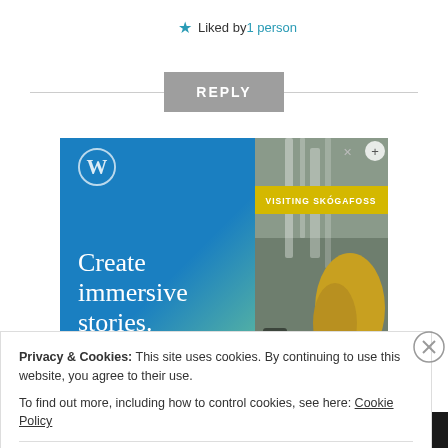★ Liked by 1 person
REPLY
[Figure (screenshot): WordPress advertisement banner showing 'Create immersive stories.' on a blue gradient background with a phone screenshot showing 'VISITING SKÓGAFOSS']
Privacy & Cookies: This site uses cookies. By continuing to use this website, you agree to their use.
To find out more, including how to control cookies, see here: Cookie Policy
Close and accept
All in One Free App   DuckDuckGo.